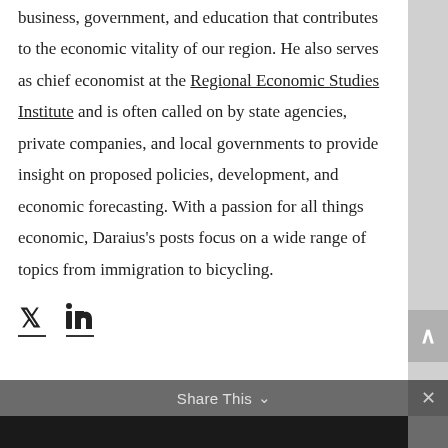business, government, and education that contributes to the economic vitality of our region. He also serves as chief economist at the Regional Economic Studies Institute and is often called on by state agencies, private companies, and local governments to provide insight on proposed policies, development, and economic forecasting. With a passion for all things economic, Daraius's posts focus on a wide range of topics from immigration to bicycling.
[Figure (other): Twitter and LinkedIn social media icons with underlines]
Share This ∨  ×